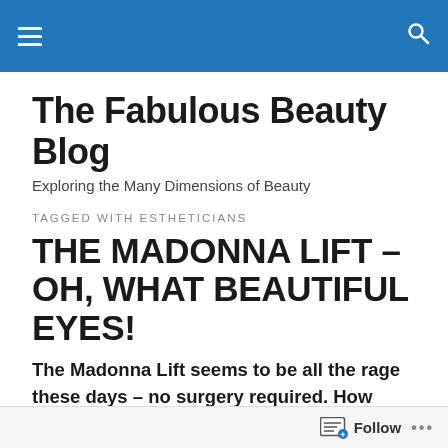The Fabulous Beauty Blog — site header bar with hamburger menu and search icon
The Fabulous Beauty Blog
Exploring the Many Dimensions of Beauty
TAGGED WITH ESTHETICIANS
THE MADONNA LIFT – OH, WHAT BEAUTIFUL EYES!
The Madonna Lift seems to be all the rage these days – no surgery required. How does this ageless pop star manage to maintain such a wide-eyed youthful look
Follow